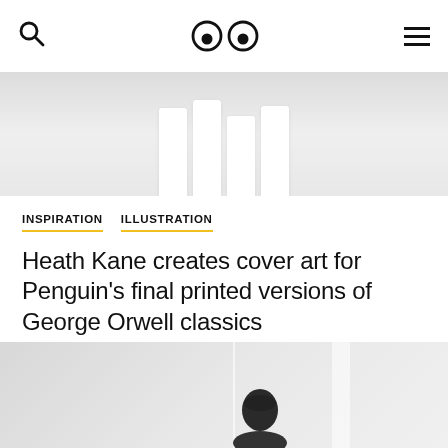Search | Logo (eyes icon) | Menu
[Figure (photo): Top cropped photo showing white cylindrical bottles/objects on a light surface, high-key lighting]
INSPIRATION   ILLUSTRATION
Heath Kane creates cover art for Penguin's final printed versions of George Orwell classics
26 January 2021
[Figure (photo): Bottom cropped photo showing a person from behind in a light room with window light]